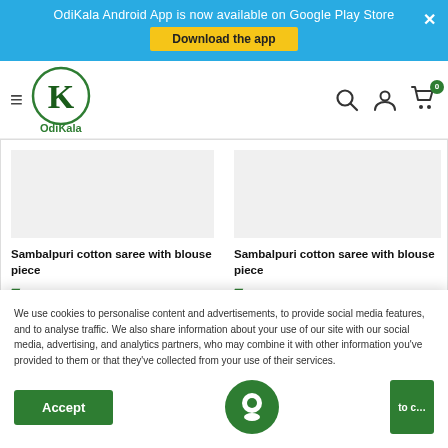OdiKala Android App is now available on Google Play Store — Download the app
[Figure (logo): OdiKala logo — circular green border with large K letter inside, OdiKala text below]
Sambalpuri cotton saree with blouse piece
₹ 8,130.00  ₹ 10,163.00
Sambalpuri cotton sa... piece
₹ 9,599.00  ₹ 11,9...
We use cookies to personalise content and advertisements, to provide social media features, and to analyse traffic. We also share information about your use of our site with our social media, advertising, and analytics partners, who may combine it with other information you've provided to them or that they've collected from your use of their services.